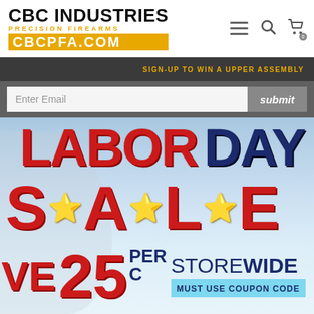[Figure (logo): CBC Industries Precision Firearms logo with CBCPFA.COM in gold/yellow box]
CBC INDUSTRIES PRECISION FIREARMS CBCPFA.COM
SIGN-UP TO WIN A UPPER ASSEMBLY
Enter Email
submit
[Figure (infographic): Labor Day Sale promotional banner with large red and navy text saying LABOR DAY SALE with gold stars, partial SAVE 25 PERCENT STOREWIDE and MUST USE COUPON CODE text, with a woman celebrating in background]